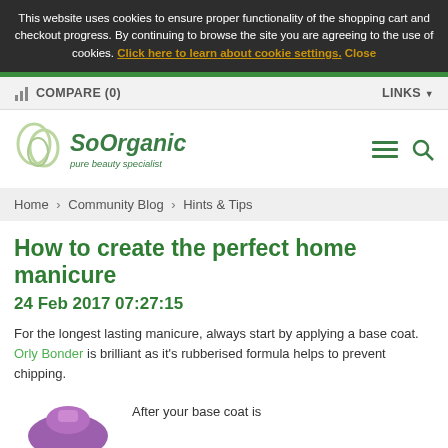This website uses cookies to ensure proper functionality of the shopping cart and checkout progress. By continuing to browse the site you are agreeing to the use of cookies. Click here to learn about cookie settings. Close
COMPARE (0)   LINKS
[Figure (logo): SoOrganic pure beauty specialist logo with circular leaf design]
Home > Community Blog > Hints & Tips
How to create the perfect home manicure
24 Feb 2017 07:27:15
For the longest lasting manicure, always start by applying a base coat. Orly Bonder is brilliant as it's rubberised formula helps to prevent chipping.
[Figure (photo): Purple/pink nail polish bottle product image]
After your base coat is